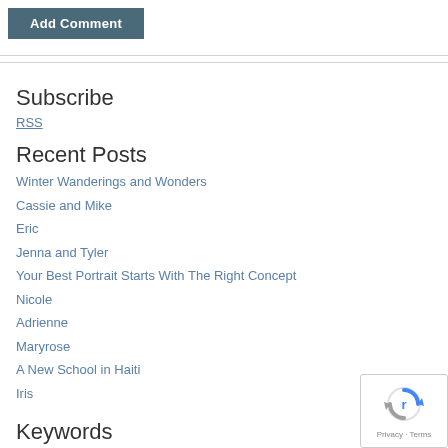Add Comment
Subscribe
RSS
Recent Posts
Winter Wanderings and Wonders
Cassie and Mike
Eric
Jenna and Tyler
Your Best Portrait Starts With The Right Concept
Nicole
Adrienne
Maryrose
A New School in Haiti
Iris
Keywords
Clinton
New Hartford